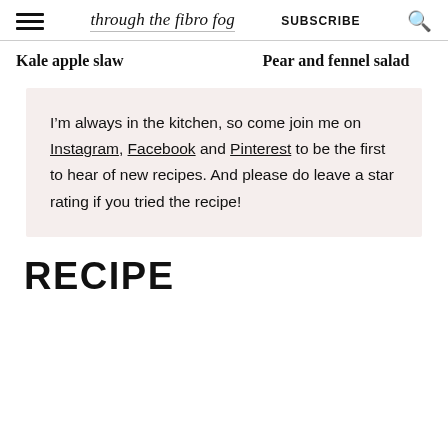through the fibro fog | SUBSCRIBE
Kale apple slaw
Pear and fennel salad
I’m always in the kitchen, so come join me on Instagram, Facebook and Pinterest to be the first to hear of new recipes. And please do leave a star rating if you tried the recipe!
RECIPE